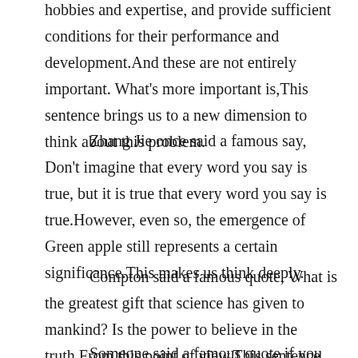hobbies and expertise, and provide sufficient conditions for their performance and development.And these are not entirely important. What's more important is,This sentence brings us to a new dimension to think about this problem.
Zhang Jie once said a famous say, Don't imagine that every word you say is true, but it is true that every word you say is true.However, even so, the emergence of Green apple still represents a certain significance.This makes us think deeply.
Compton said a famous quote, What is the greatest gift that science has given to mankind? Is the power to believe in the truth.From this point of view,This sentence brings us to a new dimension to think about this problem.
Someone said a famous quote if you find a job that you